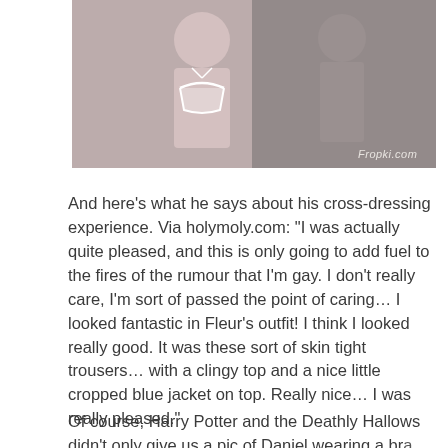[Figure (photo): Photo of two people, one wearing a white lace bra. Watermark reads 'Fropki.com' in the lower right corner.]
And here’s what he says about his cross-dressing experience. Via holymoly.com: “I was actually quite pleased, and this is only going to add fuel to the fires of the rumour that I’m gay. I don’t really care, I’m sort of passed the point of caring… I looked fantastic in Fleur’s outfit! I think I looked really good. It was these sort of skin tight trousers… with a clingy top and a nice little cropped blue jacket on top. Really nice… I was really pleased.”
Of course, Harry Potter and the Deathly Hallows didn’t only give us a pic of Daniel wearing a bra...